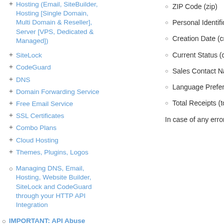Hosting (Email, SiteBuilder, Hosting [Single Domain, Multi Domain & Reseller], Server [VPS, Dedicated & Managed])
+ SiteLock
+ CodeGuard
+ DNS
+ Domain Forwarding Service
+ Free Email Service
+ SSL Certificates
+ Combo Plans
+ Cloud Hosting
+ Themes, Plugins, Logos
Managing DNS, Email, Hosting, Website Builder, SiteLock and CodeGuard through your HTTP API Integration
IMPORTANT: API Abuse
ZIP Code (zip)
Personal Identifica
Creation Date (cre
Current Status (cu
Sales Contact Nam
Language Prefere
Total Receipts (tota
In case of any errors, a